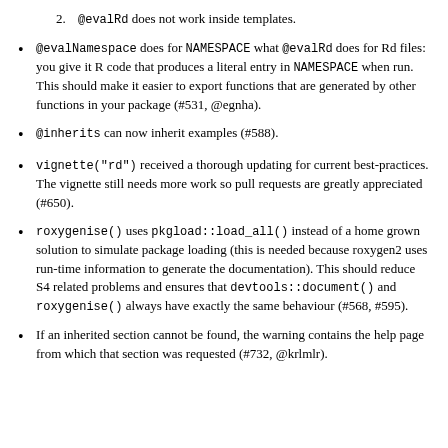2. @evalRd does not work inside templates.
@evalNamespace does for NAMESPACE what @evalRd does for Rd files: you give it R code that produces a literal entry in NAMESPACE when run. This should make it easier to export functions that are generated by other functions in your package (#531, @egnha).
@inherits can now inherit examples (#588).
vignette("rd") received a thorough updating for current best-practices. The vignette still needs more work so pull requests are greatly appreciated (#650).
roxygenise() uses pkgload::load_all() instead of a home grown solution to simulate package loading (this is needed because roxygen2 uses run-time information to generate the documentation). This should reduce S4 related problems and ensures that devtools::document() and roxygenise() always have exactly the same behaviour (#568, #595).
If an inherited section cannot be found, the warning contains the help page from which that section was requested (#732, @krlmlr).